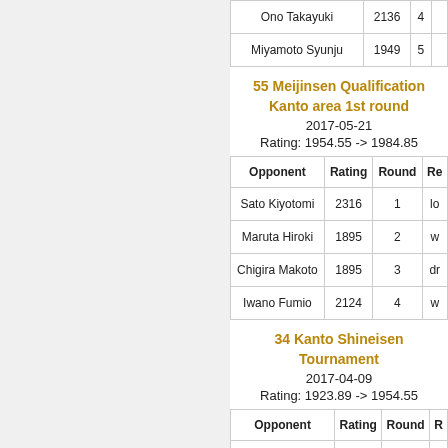| Opponent | Rating | Round | Re |
| --- | --- | --- | --- |
| Ono Takayuki | 2136 | 4 |  |
| Miyamoto Syunju | 1949 | 5 |  |
55 Meijinsen Qualification Kanto area 1st round
2017-05-21
Rating: 1954.55 -> 1984.85
| Opponent | Rating | Round | Re |
| --- | --- | --- | --- |
| Sato Kiyotomi | 2316 | 1 | lo |
| Maruta Hiroki | 1895 | 2 | w |
| Chigira Makoto | 1895 | 3 | dr |
| Iwano Fumio | 2124 | 4 | w |
34 Kanto Shineisen Tournament
2017-04-09
Rating: 1923.89 -> 1954.55
| Opponent | Rating | Round | R |
| --- | --- | --- | --- |
| Takagi Tomoyuki |  | 1 |  |
| Nakamura Sato... | 2149 | 2 |  |